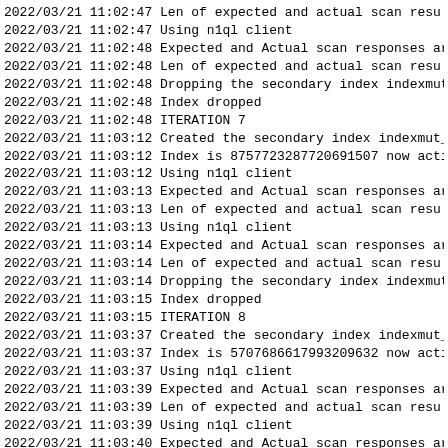2022/03/21 11:02:47 Len of expected and actual scan resu
2022/03/21 11:02:47 Using n1ql client
2022/03/21 11:02:48 Expected and Actual scan responses ar
2022/03/21 11:02:48 Len of expected and actual scan resu
2022/03/21 11:02:48 Dropping the secondary index indexmut
2022/03/21 11:02:48 Index dropped
2022/03/21 11:02:48 ITERATION 7
2022/03/21 11:03:12 Created the secondary index indexmut_
2022/03/21 11:03:12 Index is 875772328772069​1507 now acti
2022/03/21 11:03:12 Using n1ql client
2022/03/21 11:03:13 Expected and Actual scan responses ar
2022/03/21 11:03:13 Len of expected and actual scan resu
2022/03/21 11:03:13 Using n1ql client
2022/03/21 11:03:14 Expected and Actual scan responses ar
2022/03/21 11:03:14 Len of expected and actual scan resu
2022/03/21 11:03:14 Dropping the secondary index indexmut
2022/03/21 11:03:15 Index dropped
2022/03/21 11:03:15 ITERATION 8
2022/03/21 11:03:37 Created the secondary index indexmut_
2022/03/21 11:03:37 Index is 5707686617993209632 now acti
2022/03/21 11:03:37 Using n1ql client
2022/03/21 11:03:39 Expected and Actual scan responses ar
2022/03/21 11:03:39 Len of expected and actual scan resu
2022/03/21 11:03:39 Using n1ql client
2022/03/21 11:03:40 Expected and Actual scan responses ar
2022/03/21 11:03:40 Len of expected and actual scan resu
2022/03/21 11:03:40 Dropping the secondary index indexmut
2022/03/21 11:03:40 Index dropped
2022/03/21 11:03:40 ITERATION 9
2022/03/21 11:04:03 Created the secondary index indexmut